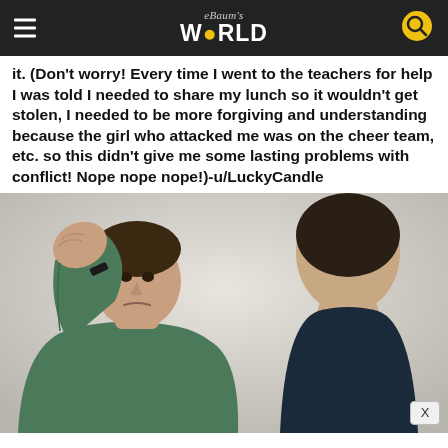eBaum's WORLD
it. (Don't worry! Every time I went to the teachers for help I was told I needed to share my lunch so it wouldn't get stolen, I needed to be more forgiving and understanding because the girl who attacked me was on the cheer team, etc. so this didn't give me some lasting problems with conflict! Nope nope nope!)-u/LuckyCandle
[Figure (photo): Two boys in a bullying confrontation: a boy in a green sweatshirt raising his fist toward another boy whose back is to the camera, both against a light background.]